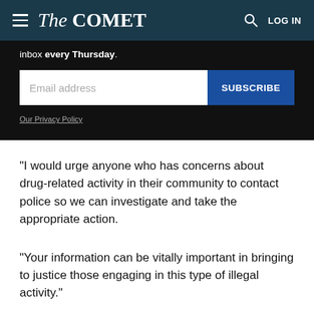The Comet — LOG IN
inbox every Thursday.
[Figure (other): Email subscription form with email address input field and SUBSCRIBE button, with Our Privacy Policy link below]
“I would urge anyone who has concerns about drug-related activity in their community to contact police so we can investigate and take the appropriate action.
“Your information can be vitally important in bringing to justice those engaging in this type of illegal activity.”